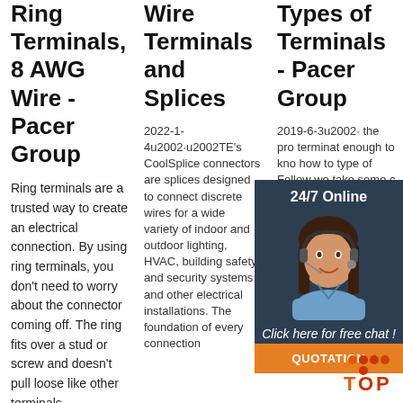Ring Terminals, 8 AWG Wire - Pacer Group
Ring terminals are a trusted way to create an electrical connection. By using ring terminals, you don't need to worry about the connector coming off. The ring fits over a stud or screw and doesn't pull loose like other terminals
Wire Terminals and Splices
2022-1-4u2002·u2002TE's CoolSplice connectors are splices designed to connect discrete wires for a wide variety of indoor and outdoor lighting, HVAC, building safety and security systems and other electrical installations. The foundation of every connection
Types of Terminals - Pacer Group
2019-6-3u2002· the pro terminat enough to kno how to type of Follow we take some c common types of terminals you're sure to run into. Everything from rings and forks to coaxial connectors and
[Figure (photo): Customer service agent photo with headset, overlaid on a dark navy widget panel showing '24/7 Online' header, 'Click here for free chat!' text, and an orange QUOTATION button]
[Figure (logo): TOP logo with orange and red dots forming a T shape, with orange 'TOP' text]